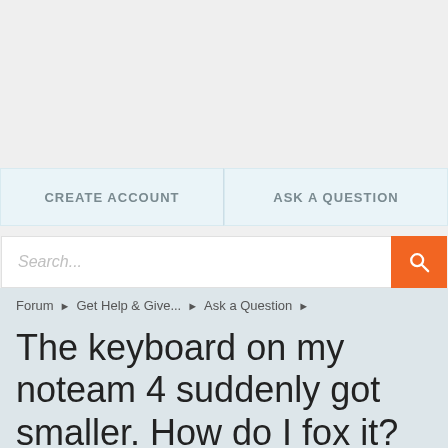[Figure (screenshot): Empty gray advertisement/banner area at top of page]
CREATE ACCOUNT
ASK A QUESTION
Search...
Forum ▶ Get Help & Give... ▶ Ask a Question ▶
The keyboard on my noteam 4 suddenly got smaller. How do I fox it?